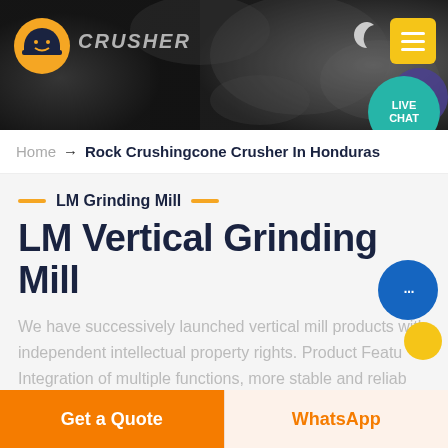[Figure (screenshot): Website header with dark industrial/rocky background, yellow logo with hard hat icon on left, brand name 'CRUSHER', moon icon and yellow menu button on right, live chat bubble in teal/purple in top right corner]
Home → Rock Crushingcone Crusher In Honduras
LM Grinding Mill
LM Vertical Grinding Mill
We have successively launched vertical mill products with independent intellectual property rights. Product Features: Integration of multiple functions, more stable and reliable production and more excellent capacity.
Get a Quote
WhatsApp